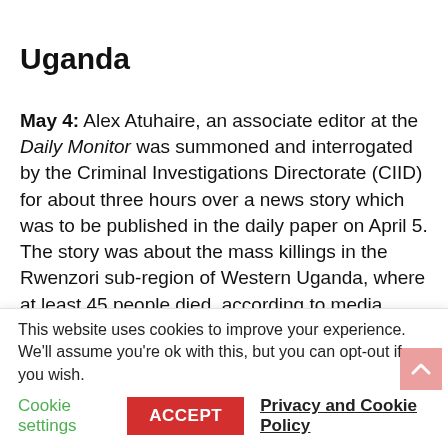Uganda
May 4: Alex Atuhaire, an associate editor at the Daily Monitor was summoned and interrogated by the Criminal Investigations Directorate (CIID) for about three hours over a news story which was to be published in the daily paper on April 5. The story was about the mass killings in the Rwenzori sub-region of Western Uganda, where at least 45 people died, according to media reports. This was after the Defence Minister: Dr. Crispus Kiyonga reported a case of
This website uses cookies to improve your experience. We'll assume you're ok with this, but you can opt-out if you wish.
Cookie settings   ACCEPT   Privacy and Cookie Policy